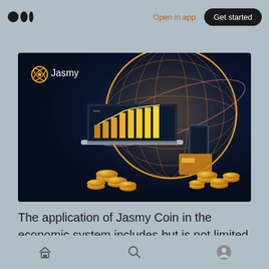Open in app   Get started
...g...
[Figure (illustration): Jasmy branded promotional image showing a dark navy background with a glowing globe made of golden grid lines, a laptop displaying a rising gold bar chart, a smartphone, a credit card, and scattered gold coins in the foreground. Jasmy logo and name appear in the top-left corner.]
The application of Jasmy Coin in the economic system includes but is not limited to:
Home  Search  Profile